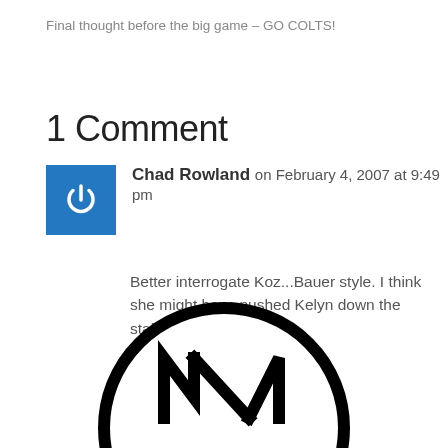Final thought before the big game – GO COLTS!
1 Comment
Chad Rowland on February 4, 2007 at 9:49 pm
Better interrogate Koz...Bauer style. I think she might have pushed Kelyn down the stairs.
[Figure (logo): Circular logo with stylized letter N or similar shape, black on white, partially visible at bottom of page]